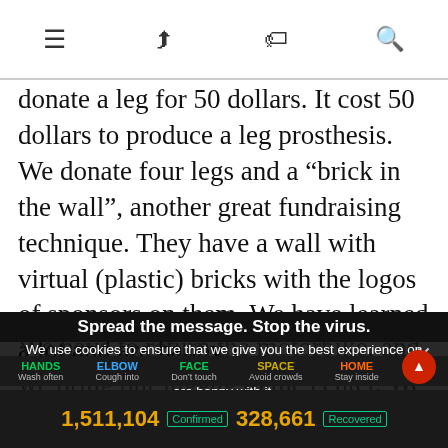[navigation icons: hamburger menu, share, tag, search]
donate a leg for 50 dollars. It cost 50 dollars to produce a leg prosthesis. We donate four legs and a “brick in the wall”, another great fundraising technique. They have a wall with virtual (plastic) bricks with the logos of sponsors on them. We have learned a lot and are happy
We use cookies to ensure that we give you the best experience on our website. If you continue to use this site we will assume that you are happy with it.
Ok
We have to return the motorbike, and we bring our luggag to the center. We have to move on once again, and so we buy a bus ticket to Vietnam, but then
Spread the message. Stop the virus.
HANDS Wash often   ELBOW Cough into   FACE Don’t touch   SPACE Avoid crowds   HOME Stay inside
1,511,104 Confirmed   328,661 Recovered
June 2nd, another day, and we follow the book. There is a guidebook ‘stay another day’ in every visitor to